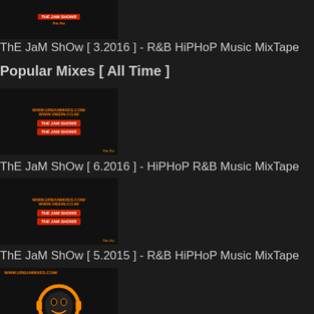[Figure (thumbnail): Mixtape thumbnail for ThE JaM ShOw 3.2016]
ThE JaM ShOw [ 3.2016 ] - R&B HiPHoP Music MixTape
Popular Mixes [ All Time ]
[Figure (thumbnail): Mixtape thumbnail for ThE JaM ShOw 6.2016]
ThE JaM ShOw [ 6.2016 ] - HiPHoP R&B Music MixTape
[Figure (thumbnail): Mixtape thumbnail for ThE JaM ShOw 5.2015]
ThE JaM ShOw [ 5.2015 ] - R&B HiPHoP Music MixTape
[Figure (thumbnail): RnB ThrowBACKback headphone logo thumbnail]
RnB ThrowBACKback - Oldschool R&B Music Mixtape
[Figure (thumbnail): Mixtape thumbnail partial at bottom]